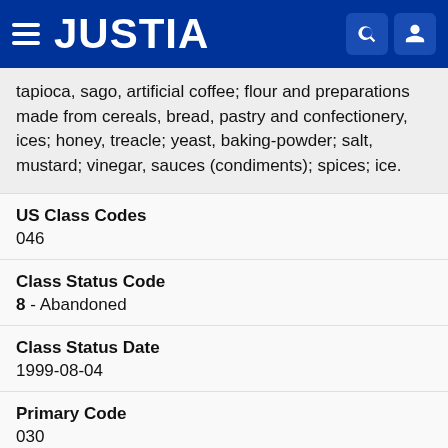JUSTIA
tapioca, sago, artificial coffee; flour and preparations made from cereals, bread, pastry and confectionery, ices; honey, treacle; yeast, baking-powder; salt, mustard; vinegar, sauces (condiments); spices; ice.
US Class Codes
046
Class Status Code
8 - Abandoned
Class Status Date
1999-08-04
Primary Code
030
International Class